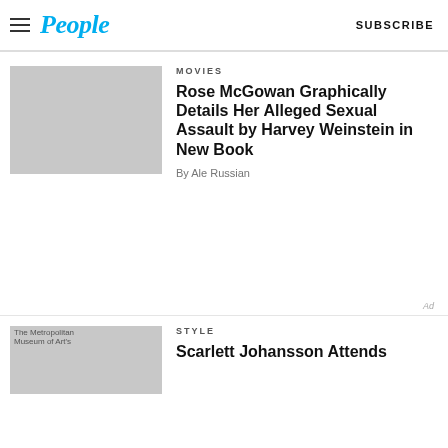People | SUBSCRIBE
MOVIES
Rose McGowan Graphically Details Her Alleged Sexual Assault by Harvey Weinstein in New Book
By Ale Russian
Ad
STYLE
Scarlett Johansson Attends